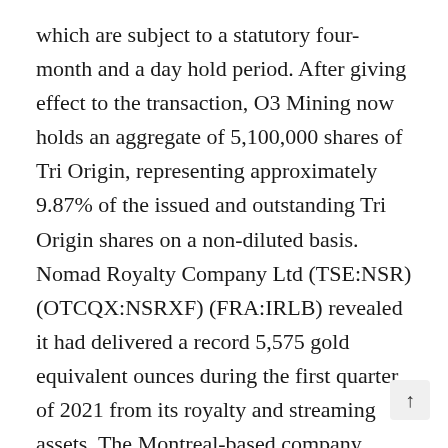which are subject to a statutory four-month and a day hold period. After giving effect to the transaction, O3 Mining now holds an aggregate of 5,100,000 shares of Tri Origin, representing approximately 9.87% of the issued and outstanding Tri Origin shares on a non-diluted basis. Nomad Royalty Company Ltd (TSE:NSR) (OTCQX:NSRXF) (FRA:IRLB) revealed it had delivered a record 5,575 gold equivalent ounces during the first quarter of 2021 from its royalty and streaming assets. The Montreal-based company recorded preliminary revenues of US$9.7 million for the three-month period ended March 31, 2021, resulting in preliminary cash operating margin of $7.0 million, according to a